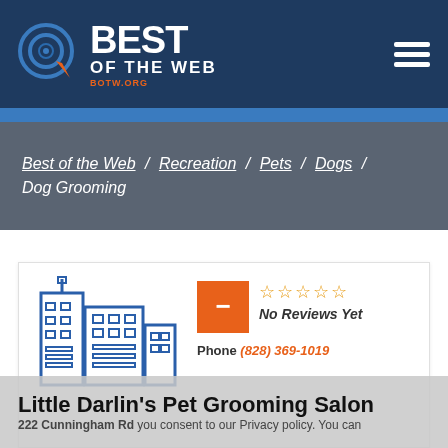BEST OF THE WEB — botw.org
Best of the Web / Recreation / Pets / Dogs / Dog Grooming
[Figure (illustration): Blue outline illustration of city buildings/skyscrapers]
[Figure (infographic): Orange minus-icon box with 5 empty star rating and 'No Reviews Yet' label]
Phone (828) 369-1019
Little Darlin's Pet Grooming Salon
222 Cunningham Rd you consent to our Privacy policy. You can